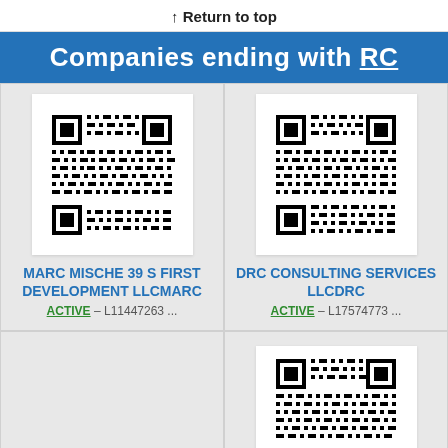↑ Return to top
Companies ending with RC
[Figure (other): QR code for MARC MISCHE 39 S FIRST DEVELOPMENT LLCMARC]
MARC MISCHE 39 S FIRST DEVELOPMENT LLCMARC
ACTIVE – L11447263 ...
[Figure (other): QR code for DRC CONSULTING SERVICES LLCDRC]
DRC CONSULTING SERVICES LLCDRC
ACTIVE – L17574773 ...
[Figure (other): QR code for MARC KAY FAMILY]
MARC KAY FAMILY